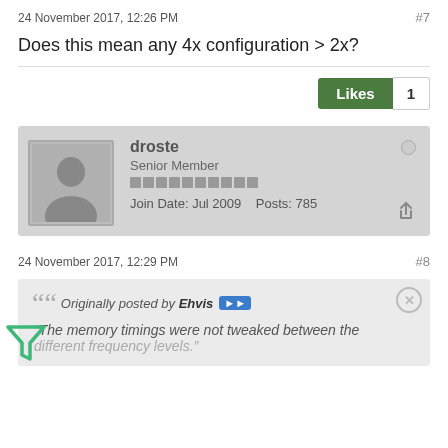24 November 2017, 12:26 PM   #7
Does this mean any 4x configuration > 2x?
Likes  1
droste
Senior Member
Join Date: Jul 2009    Posts: 785
24 November 2017, 12:29 PM   #8
Originally posted by Ehvis
"The memory timings were not tweaked between the different frequency levels."